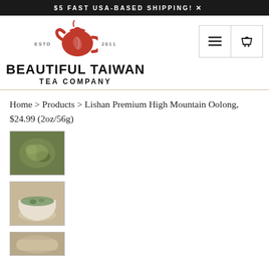$5 FAST USA-BASED SHIPPING!
[Figure (logo): Beautiful Taiwan Tea Company logo with red teapot, ESTD 2011 text, and bold brand name]
Home > Products > Lishan Premium High Mountain Oolong, $24.99 (2oz/56g)
[Figure (photo): Thumbnail photo of loose leaf green oolong tea]
[Figure (photo): Thumbnail photo of brewed oolong tea in a white cup]
[Figure (photo): Thumbnail photo partially visible at bottom]